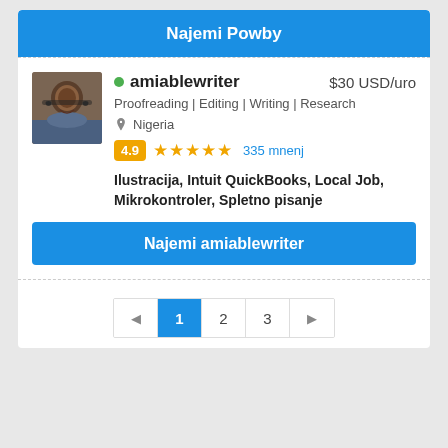Najemi Powby
amiablewriter  $30 USD/uro
Proofreading | Editing | Writing | Research
Nigeria
4.9 ★★★★★ 335 mnenj
Ilustracija, Intuit QuickBooks, Local Job, Mikrokontroler, Spletno pisanje
Najemi amiablewriter
◄  1  2  3  ►